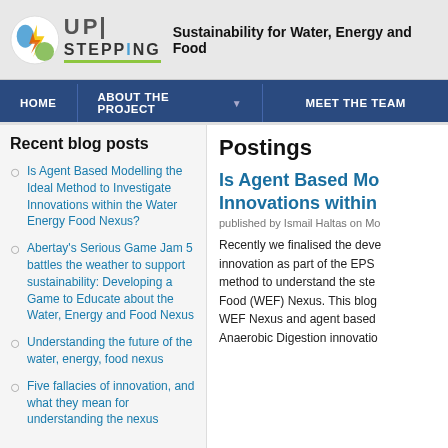[Figure (logo): STEPPING UP logo with colorful circular icon and tagline 'Sustainability for Water, Energy and Food']
HOME | ABOUT THE PROJECT ▾ | MEET THE TEAM
Recent blog posts
Is Agent Based Modelling the Ideal Method to Investigate Innovations within the Water Energy Food Nexus?
Abertay's Serious Game Jam 5 battles the weather to support sustainability: Developing a Game to Educate about the Water, Energy and Food Nexus
Understanding the future of the water, energy, food nexus
Five fallacies of innovation, and what they mean for understanding the nexus
Postings
Is Agent Based Mo... Innovations within...
published by Ismail Haltas on Mo...
Recently we finalised the deve... innovation as part of the EPS... method to understand the ste... Food (WEF) Nexus. This blog... WEF Nexus and agent based ... Anaerobic Digestion innovatio...